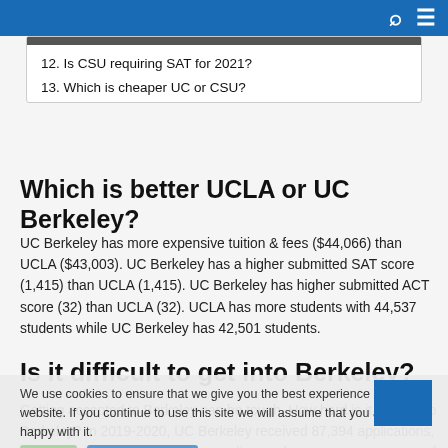Search Menu
12. Is CSU requiring SAT for 2021?
13. Which is cheaper UC or CSU?
Which is better UCLA or UC Berkeley?
UC Berkeley has more expensive tuition & fees ($44,066) than UCLA ($43,003). UC Berkeley has a higher submitted SAT score (1,415) than UCLA (1,415). UC Berkeley has higher submitted ACT score (32) than UCLA (32). UCLA has more students with 44,537 students while UC Berkeley has 42,501 students.
Is it difficult to get into Berkeley?
Getting accepted to Berkeley can be tough. How hard is it to get into Berkeley? In 2019-2020, UC Berkeley received 87,394 applications, and it admitted 14,668 of those applicants, for an acceptance rate of 16.7%.
How much does it cost to go to University of California San Francisco?